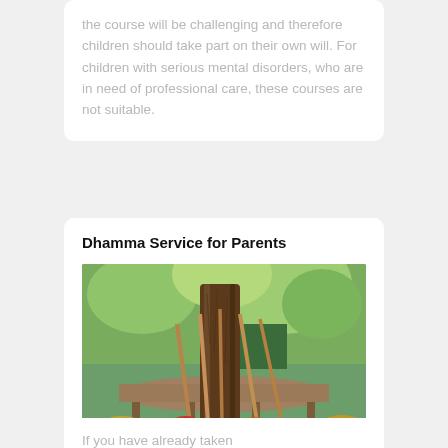the course will be challenging and therefore children should take part on their own will. For children with serious mental disorders, who are in need of professional care, these courses are not suitable.
Dhamma Service for Parents
[Figure (photo): Outdoor photo showing several brooms and rakes leaning against a large tree trunk on a wooden deck/platform, surrounded by greenery and autumn leaves.]
If you have already taken